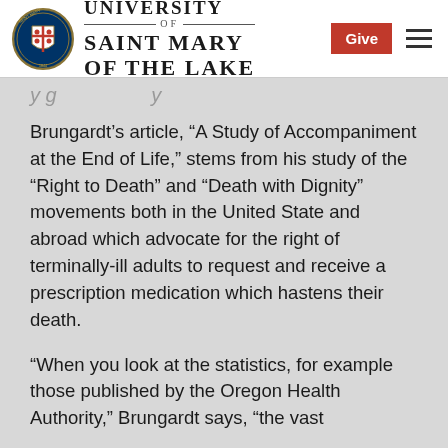University of Saint Mary of the Lake
Brungardt's article, “A Study of Accompaniment at the End of Life,” stems from his study of the “Right to Death” and “Death with Dignity” movements both in the United State and abroad which advocate for the right of terminally-ill adults to request and receive a prescription medication which hastens their death.
“When you look at the statistics, for example those published by the Oregon Health Authority,” Brungardt says, “the vast